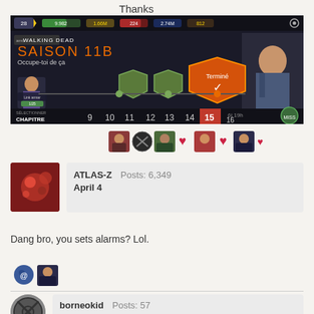Thanks
[Figure (screenshot): Screenshot of The Walking Dead mobile game showing Season 11B, chapter selection screen with chapters 9-16, character Aaron, and a completed mission badge.]
[Figure (infographic): Row of reaction emoji icons (like/heart reactions from forum users)]
ATLAS-Z  Posts: 6,349
April 4
Dang bro, you sets alarms? Lol.
[Figure (infographic): Two reaction emoji icons below the comment]
borneokid  Posts: 57